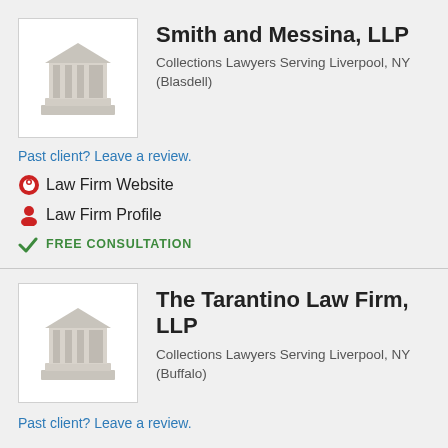[Figure (illustration): Law firm building/courthouse icon in gray]
Smith and Messina, LLP
Collections Lawyers Serving Liverpool, NY (Blasdell)
Past client? Leave a review.
Law Firm Website
Law Firm Profile
FREE CONSULTATION
[Figure (illustration): Law firm building/courthouse icon in gray]
The Tarantino Law Firm, LLP
Collections Lawyers Serving Liverpool, NY (Buffalo)
Past client? Leave a review.